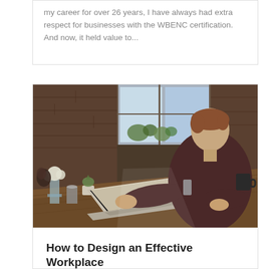my career for over 26 years, I have always had extra respect for businesses with the WBENC certification. And now, it held value to...
[Figure (photo): A man with reddish-brown hair wearing a dark maroon long-sleeve shirt sits at a wooden table in a cafe or brick-walled workspace, typing on a laptop. A glass vase with white flowers and a small succulent plant are on the table. A window with natural light is visible in the background.]
How to Design an Effective Workplace
by Jason Moyer | Feb 11, 2020 | Office Design